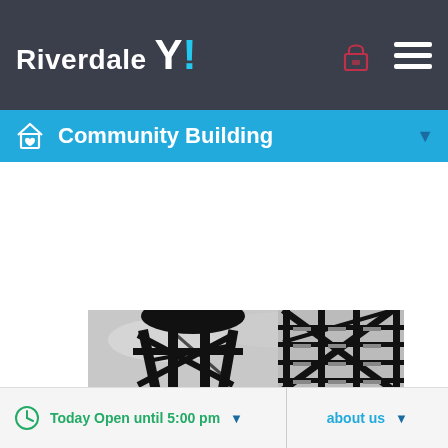Riverdale Y!
Community Building
[Figure (photo): Black and white photograph showing industrial structures: a water tower silhouette on the left with X-braced steel supports, and a metal fire escape staircase structure on the right, against a cloudy grey sky.]
Today Open until 5:00 pm
about us